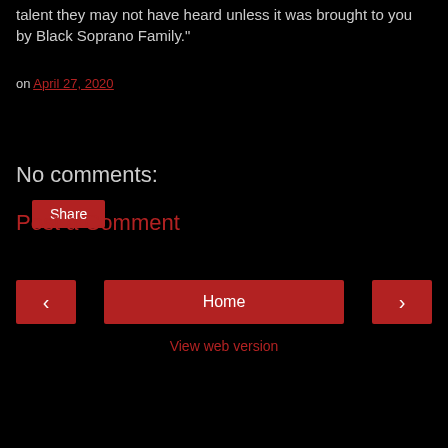talent they may not have heard unless it was brought to you by Black Soprano Family."
on April 27, 2020
Share
No comments:
Post a Comment
Home
View web version